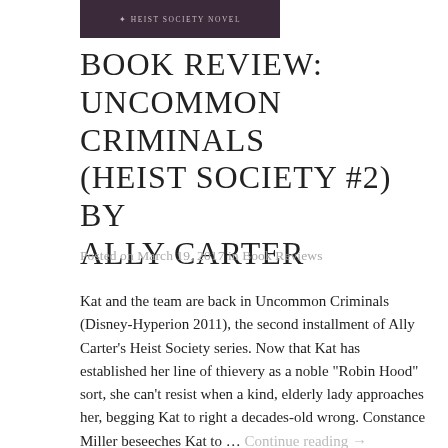[Figure (photo): Partial book cover image showing text 'HEIST SOCIETY NOVEL' on a dark purple/maroon background]
BOOK REVIEW: UNCOMMON CRIMINALS (HEIST SOCIETY #2) BY ALLY CARTER
Posted on March 19, 2017 in Book Reviews
Kat and the team are back in Uncommon Criminals (Disney-Hyperion 2011), the second installment of Ally Carter's Heist Society series. Now that Kat has established her line of thievery as a noble "Robin Hood" sort, she can't resist when a kind, elderly lady approaches her, begging Kat to right a decades-old wrong. Constance Miller beseeches Kat to … Continue reading →